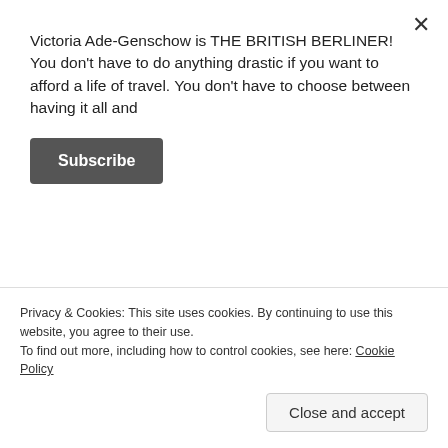Victoria Ade-Genschow is THE BRITISH BERLINER! You don't have to do anything drastic if you want to afford a life of travel. You don't have to choose between having it all and
Subscribe
[Figure (screenshot): Social sharing buttons: Tweet (Twitter/blue), Share (LinkedIn/blue), Email (outlined)]
Like this:
Loading...
Privacy & Cookies: This site uses cookies. By continuing to use this website, you agree to their use. To find out more, including how to control cookies, see here: Cookie Policy
Close and accept
travel  Tags: Asia, brilliant, brilliant reasons, East